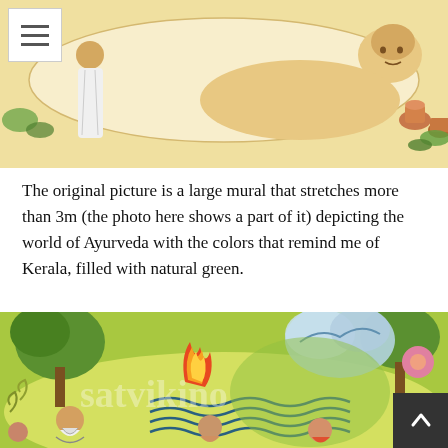[Figure (illustration): A Kerala mural painting showing a large figure reclining, with a person in white clothing standing nearby and vessels in the background. Depicts an Ayurveda scene with yellow-cream tones.]
The original picture is a large mural that stretches more than 3m (the photo here shows a part of it) depicting the world of Ayurveda with the colors that remind me of Kerala, filled with natural green.
[Figure (illustration): A Kerala mural painting depicting Ayurveda themes with natural green colors, showing trees, fire, water waves, figures including a sage with beard, and other people. Watermark text 'satvikino' visible.]